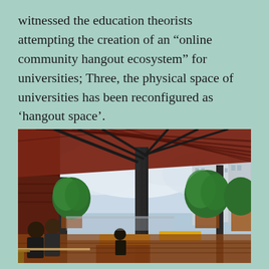witnessed the education theorists attempting the creation of an “online community hangout ecosystem” for universities; Three, the physical space of universities has been reconfigured as ‘hangout space’.
[Figure (photo): A rooftop terrace of a university building with students seated at wooden tables under a red/maroon slatted pergola roof supported by dark steel columns. Green trees in large planters frame the space, with city buildings and a cloudy sky visible in the background. The furniture includes yellow-painted wooden bench structures.]